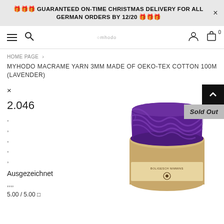🎁🎁🎁 GUARANTEED ON-TIME CHRISTMAS DELIVERY FOR ALL GERMAN ORDERS BY 12/20 🎁🎁🎁
[Figure (screenshot): Website navigation bar with hamburger menu, search icon, Myhodo logo, user account icon, and shopping cart with 0 items]
HOME PAGE >
MYHODO MACRAME YARN 3MM MADE OF OEKO-TEX COTTON 100M (LAVENDER)
× 2.046
Ausgezeichnet
5.00 / 5.00 ☆
[Figure (photo): A spool of purple/lavender macrame yarn, twisted cotton cord wound on a cardboard spool with a label reading BOLIGESCH NIMMINS]